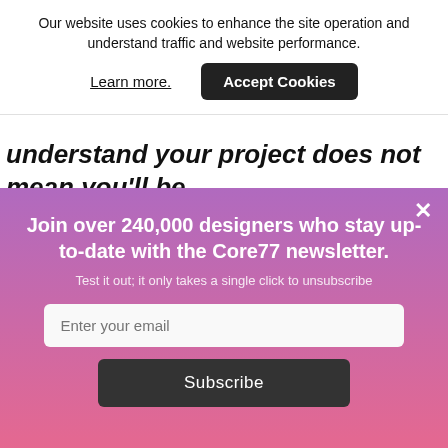Our website uses cookies to enhance the site operation and understand traffic and website performance.
Learn more.
Accept Cookies
understand your project does not mean you'll be able to articulate it during a presentation. One of
Join over 240,000 designers who stay up-to-date with the Core77 newsletter.
Test it out; it only takes a single click to unsubscribe
Enter your email
Subscribe